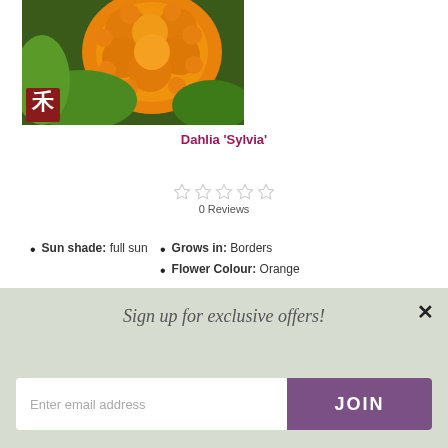[Figure (photo): Close-up photo of an orange Dahlia flower with green leaves in the background. A red logo mark with stylized characters is visible in the lower-left corner of the image.]
Dahlia 'Sylvia'
0 Reviews
Sun shade: full sun
Grows in: Borders
Flower Colour: Orange
Sign up for exclusive offers!
Enter email address
JOIN